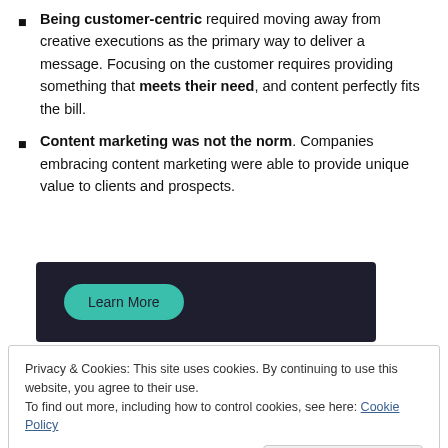Being customer-centric required moving away from creative executions as the primary way to deliver a message. Focusing on the customer requires providing something that meets their need, and content perfectly fits the bill.
Content marketing was not the norm. Companies embracing content marketing were able to provide unique value to clients and prospects.
[Figure (screenshot): Dark banner with a teal 'Learn More' button on the left side]
Privacy & Cookies: This site uses cookies. By continuing to use this website, you agree to their use. To find out more, including how to control cookies, see here: Cookie Policy
Close and accept